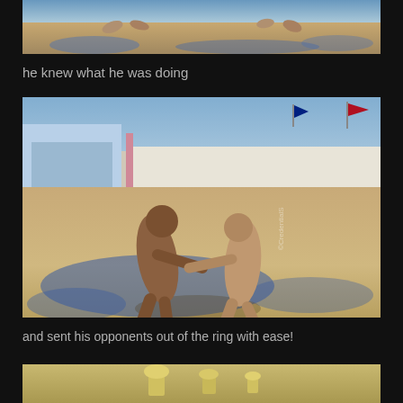[Figure (photo): Partial view of feet/legs on sandy ground with blue paint, top portion of image]
he knew what he was doing
[Figure (photo): Two people wrestling nude outdoors at what appears to be Burning Man festival, with tents and flags in background, blue painted ground]
and sent his opponents out of the ring with ease!
[Figure (photo): Bottom partial photo, appears to show trophies or objects on sandy ground]